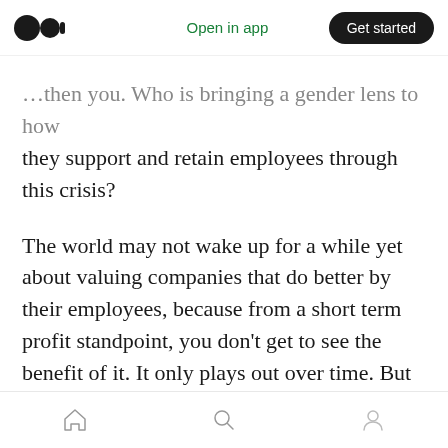Medium app header — Open in app | Get started
…then you. Who is bringing a gender lens to how they support and retain employees through this crisis?
The world may not wake up for a while yet about valuing companies that do better by their employees, because from a short term profit standpoint, you don't get to see the benefit of it. It only plays out over time. But as an investor with a gender lens who is thinking about all the things that COVID-19 has revealed, it is increasingly clear that the companies with better gender policies and workplace practices are the
Home | Search | Profile